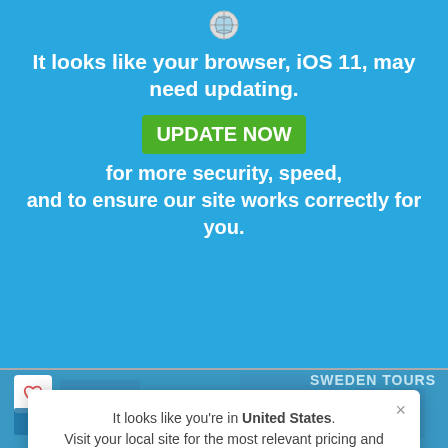[Figure (screenshot): Browser settings/lock icon at top of blue banner]
It looks like your browser, iOS 11, may need updating.
UPDATE NOW for more security, speed, and to ensure our site works correctly for you.
[Figure (screenshot): Travel website background image showing Sweden Tours with a blue-toned cityscape photo. A heart/favourite icon is in the top left. A 'Great Value' badge is shown. A modal popup appears over the image saying: It looks like you're in United States. Visit your local site for the most relevant pricing and information. With a button: Switch to United States.]
It looks like you're in United States. Visit your local site for the most relevant pricing and information.
Switch to United States